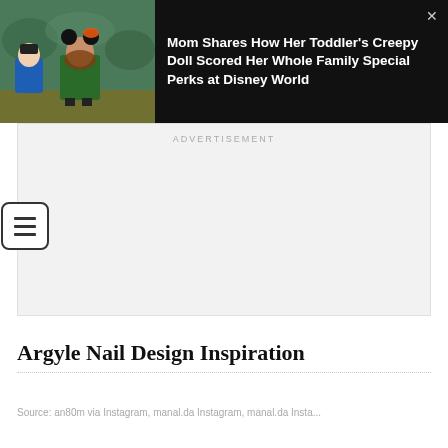[Figure (photo): Promotional banner showing a young girl dressed as Minnie Mouse holding a creepy doll dressed as Cinderella, on a dark background with white headline text and a close button.]
Mom Shares How Her Toddler's Creepy Doll Scored Her Whole Family Special Perks at Disney World
ADVERTISEMENT
Argyle Nail Design Inspiration
Source: an80m via Instagram, manal.da Instagram, manal.da Insta...